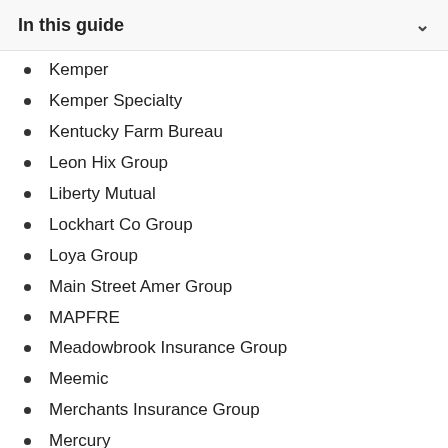In this guide
Kemper
Kemper Specialty
Kentucky Farm Bureau
Leon Hix Group
Liberty Mutual
Lockhart Co Group
Loya Group
Main Street Amer Group
MAPFRE
Meadowbrook Insurance Group
Meemic
Merchants Insurance Group
Mercury
MetLife
Metromile
Michigan Farm Bureau
Michigan Farm Bureau Group